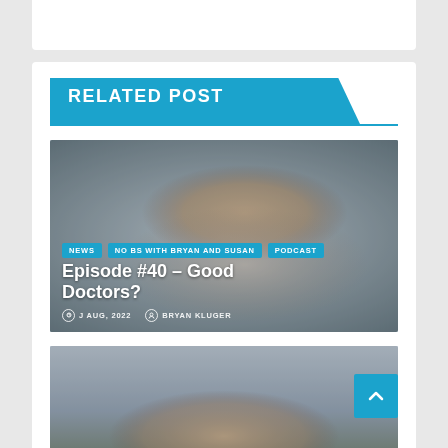RELATED POST
[Figure (photo): Photo of a bearded man with glasses, smiling, wearing a white jacket and checkered shirt, blurred background]
NEWS  NO BS WITH BRYAN AND SUSAN  PODCAST
Episode #40 – Good Doctors?
J AUG, 2022   BRYAN KLUGER
[Figure (photo): Photo of a middle-aged man with blonde hair outdoors against a cloudy sky background, partially visible]